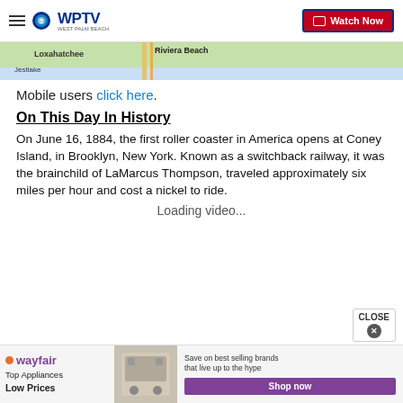WPTV — Watch Now
[Figure (map): Partial map showing Loxahatchee and Riviera Beach area]
Mobile users click here.
On This Day In History
On June 16, 1884, the first roller coaster in America opens at Coney Island, in Brooklyn, New York. Known as a switchback railway, it was the brainchild of LaMarcus Thompson, traveled approximately six miles per hour and cost a nickel to ride.
Loading video...
[Figure (screenshot): Wayfair advertisement banner: Top Appliances Low Prices, Save on best selling brands that live up to the hype, Shop now button]